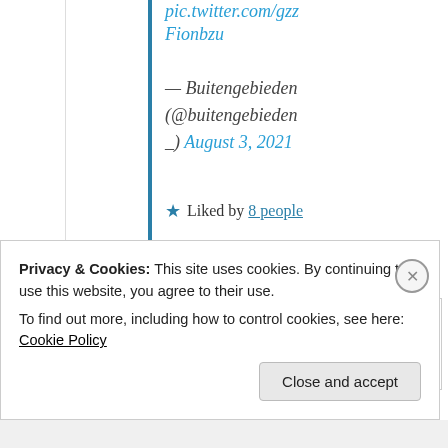pic.twitter.com/gzz Fionbzu — Buitengebieden (@buitengebieden _) August 3, 2021
★ Liked by 8 people
↳ Reply
Privacy & Cookies: This site uses cookies. By continuing to use this website, you agree to their use. To find out more, including how to control cookies, see here: Cookie Policy
Close and accept